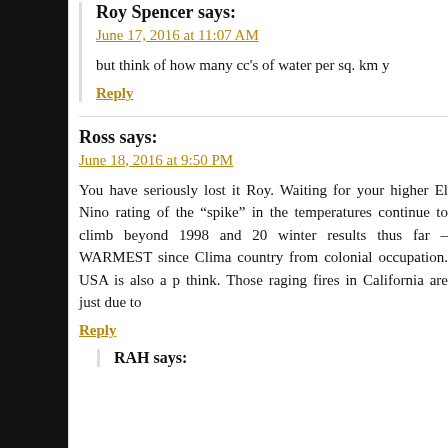Roy Spencer says:
June 17, 2016 at 11:07 AM
but think of how many cc's of water per sq. km y
Reply
Ross says:
June 18, 2016 at 9:50 PM
You have seriously lost it Roy. Waiting for your higher El Nino rating of the "spike" in the temperatures continue to climb beyond 1998 and 2... winter results thus far – WARMEST since Clima... country from colonial occupation. USA is also a p... think. Those raging fires in California are just due to
Reply
RAH says: